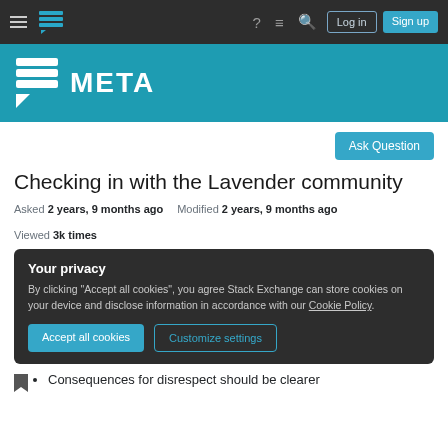Stack Exchange Meta — navigation bar with hamburger menu, logo, help, chat, search icons, Log in and Sign up buttons
[Figure (logo): Stack Exchange Meta site header with blue background, logo icon (speech bubble with lines) and META text in white]
Ask Question
Checking in with the Lavender community
Asked 2 years, 9 months ago   Modified 2 years, 9 months ago   Viewed 3k times
Your privacy
By clicking "Accept all cookies", you agree Stack Exchange can store cookies on your device and disclose information in accordance with our Cookie Policy.
Accept all cookies   Customize settings
Consequences for disrespect should be clearer